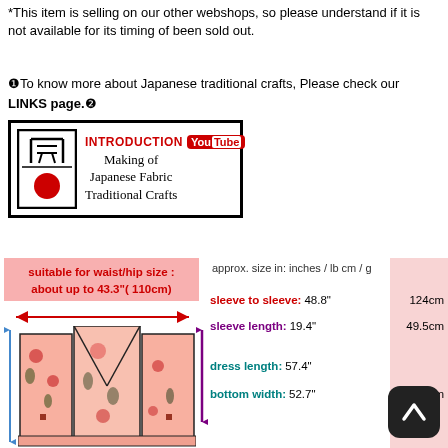*This item is selling on our other webshops, so please understand if it is not available for its timing of been sold out.
❶To know more about Japanese traditional crafts, Please check our LINKS page.❷
[Figure (illustration): Introduction YouTube banner for Making of Japanese Fabric Traditional Crafts with logo (Japanese character, red circle) on left and text on right]
[Figure (infographic): Kimono sizing diagram showing waist/hip size suitable for about up to 43.3 inches (110cm), with measurements: sleeve to sleeve 48.8 inches / 124cm, sleeve length 19.4 inches / 49.5cm, dress length 57.4 inches, bottom width 52.7 inches / 134cm. Includes kimono illustration with floral pattern.]